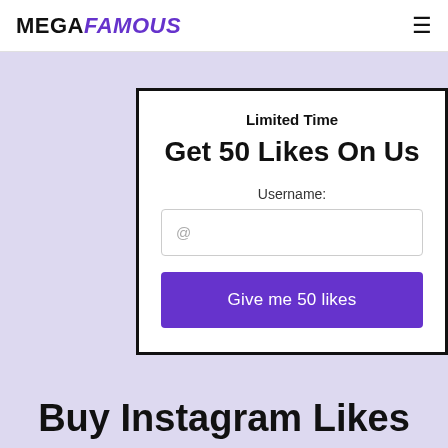MEGAFAMOUS
Limited Time
Get 50 Likes On Us
Username:
@
Give me 50 likes
Buy Instagram Likes